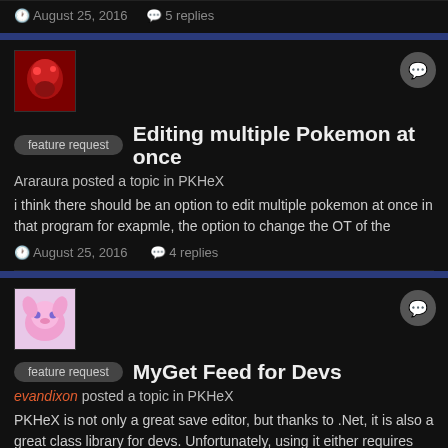August 25, 2016   5 replies
[Figure (photo): Red avatar image for user Araraura]
feature request   Editing multiple Pokemon at once
Araraura posted a topic in PKHeX
i think there should be an option to edit multiple pokemon at once in that program for exapmle, the option to change the OT of the
August 25, 2016   4 replies
[Figure (photo): Pink Mew avatar image for user evandixon]
feature request   MyGet Feed for Devs
evandixon posted a topic in PKHeX
PKHeX is not only a great save editor, but thanks to .Net, it is also a great class library for devs. Unfortunately, using it either requires
July 12, 2016   2 replies